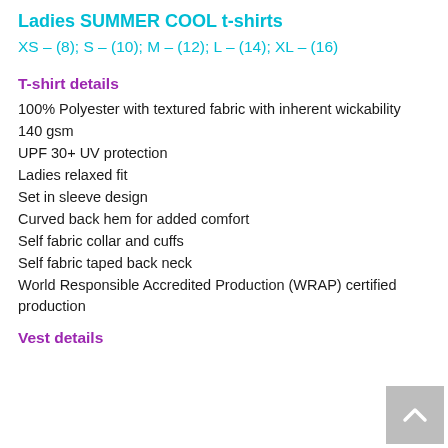Ladies SUMMER COOL t-shirts
XS – (8); S – (10); M – (12); L – (14); XL – (16)
T-shirt details
100% Polyester with textured fabric with inherent wickability
140 gsm
UPF 30+ UV protection
Ladies relaxed fit
Set in sleeve design
Curved back hem for added comfort
Self fabric collar and cuffs
Self fabric taped back neck
World Responsible Accredited Production (WRAP) certified production
Vest details